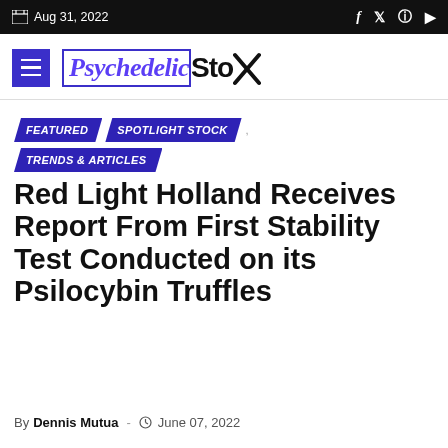Aug 31, 2022
[Figure (logo): PsychedelicStox website logo with hamburger menu]
FEATURED
SPOTLIGHT STOCK
TRENDS & ARTICLES
Red Light Holland Receives Report From First Stability Test Conducted on its Psilocybin Truffles
By Dennis Mutua - June 07, 2022